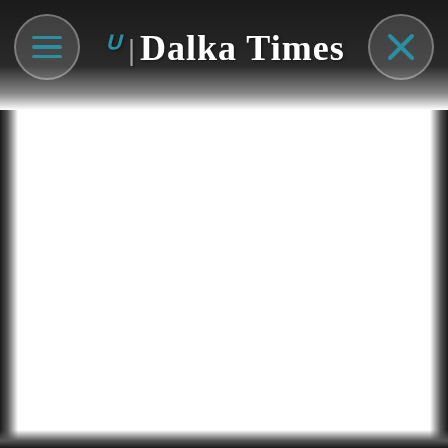Dalka Times
[Figure (screenshot): Mobile app screenshot showing the Dalka Times news application header with a hamburger menu button on the left, the Dalka Times logo in the center, and a close (X) button on the right, all on a dark gradient background bar. The main content area below is blank white.]